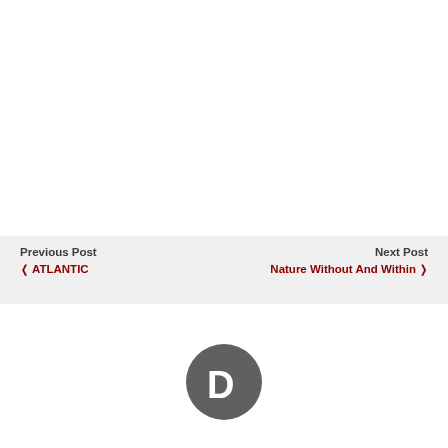Previous Post
‹ ATLANTIC
Next Post
Nature Without And Within ›
[Figure (logo): Disqus 'D' logo — dark gray speech bubble circle with white letter D inside]